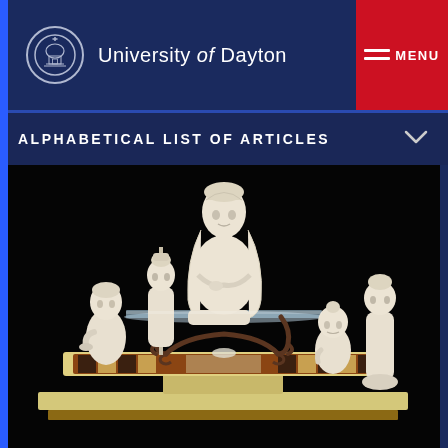University of Dayton
ALPHABETICAL LIST OF ARTICLES
[Figure (photo): A nativity or cultural scene display featuring five carved ivory/bone figurines arranged around a decorative glass-topped metal table on a platform base with patterned inlay, set against a black background.]